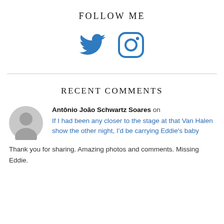FOLLOW ME
[Figure (illustration): Twitter bird icon and Instagram camera icon, both in blue, displayed as social media follow icons]
RECENT COMMENTS
Antônio João Schwartz Soares on If I had been any closer to the stage at that Van Halen show the other night, I'd be carrying Eddie's baby. Thank you for sharing. Amazing photos and comments. Missing Eddie.